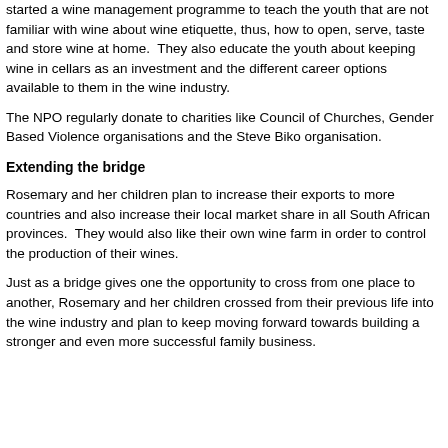started a wine management programme to teach the youth that are not familiar with wine about wine etiquette, thus, how to open, serve, taste and store wine at home.  They also educate the youth about keeping wine in cellars as an investment and the different career options available to them in the wine industry.
The NPO regularly donate to charities like Council of Churches, Gender Based Violence organisations and the Steve Biko organisation.
Extending the bridge
Rosemary and her children plan to increase their exports to more countries and also increase their local market share in all South African provinces.  They would also like their own wine farm in order to control the production of their wines.
Just as a bridge gives one the opportunity to cross from one place to another, Rosemary and her children crossed from their previous life into the wine industry and plan to keep moving forward towards building a stronger and even more successful family business.